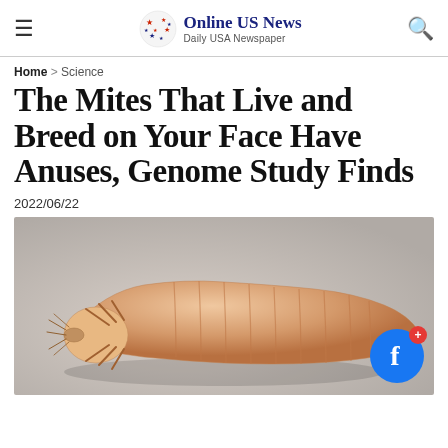Online US News – Daily USA Newspaper
Home > Science
The Mites That Live and Breed on Your Face Have Anuses, Genome Study Finds
2022/06/22
[Figure (photo): Close-up macro photograph of a face mite (Demodex folliculorum) showing its elongated worm-like body with segmented abdomen and small legs near the head end, on a grey background.]